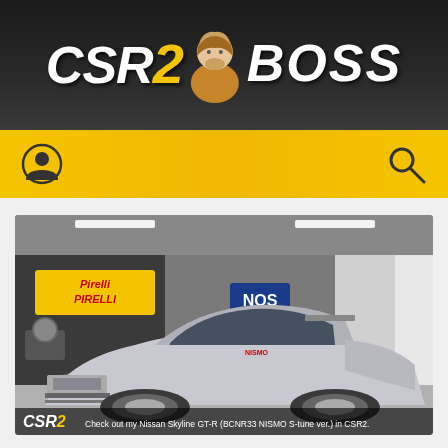[Figure (logo): CSR2 BOSS website header logo with character mascot on dark gradient background]
[Figure (photo): CSR2 mobile game screenshot showing Nissan Skyline GT-R (BCNR33 NISMO S-tune ver.) in a garage setting with Pirelli and NOS branding]
Check out my Nissan Skyline GT-R (BCNR33 NISMO S-tune ver.) in CSR2.